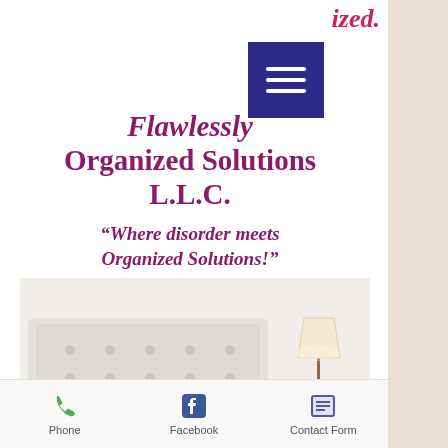ized.
[Figure (screenshot): Dark blue/indigo hamburger menu button with three white horizontal bars]
Flawlessly Organized Solutions L.L.C.
“Where disorder meets Organized Solutions!”
[Figure (photo): Interior bedroom photo showing a white tufted headboard with light blue pillows, a striped accent pillow, and a nightstand with a white lamp]
Phone   Facebook   Contact Form